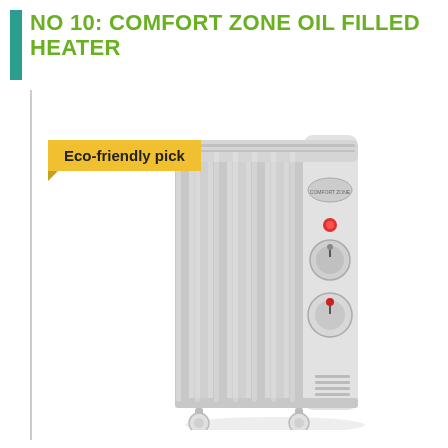NO 10: COMFORT ZONE OIL FILLED HEATER
Eco-friendly pick
[Figure (photo): A grey oil-filled electric radiator heater on wheels, with vertical fins, two dial controls and a red indicator light on the right side panel]